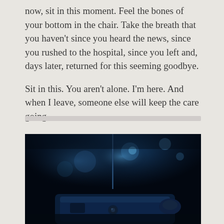now, sit in this moment. Feel the bones of your bottom in the chair. Take the breath that you haven't since you heard the news, since you rushed to the hospital, since you left and, days later, returned for this seeming goodbye.

Sit in this. You aren't alone. I'm here. And when I leave, someone else will keep the care going.
[Figure (photo): Dark, moody close-up photograph of what appears to be medical or mechanical equipment with blue tones and bokeh background lighting.]